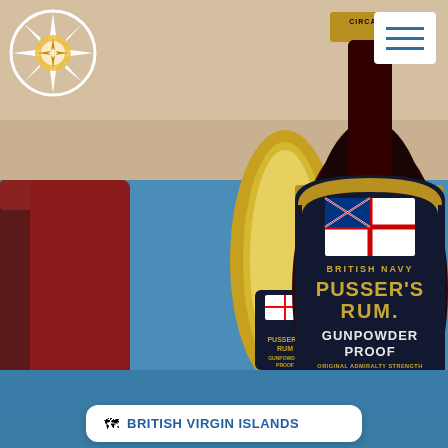[Figure (photo): Photo of multiple bottles of Pusser's Rum Gunpowder Proof (British Navy) on a blue surface. The foreground bottle is prominent with a dark label featuring the British White Ensign flag, gold text reading 'BRITISH NAVY PUSSER'S RUM GUNPOWDER PROOF ORIGINAL ADMIRALTY STRENGTH', and a gold band. Background bottles are slightly blurred. A compass-star logo (white circle outline) is overlaid in the upper left. A white menu button with three blue horizontal lines is in the upper right corner.]
🗺 BRITISH VIRGIN ISLANDS